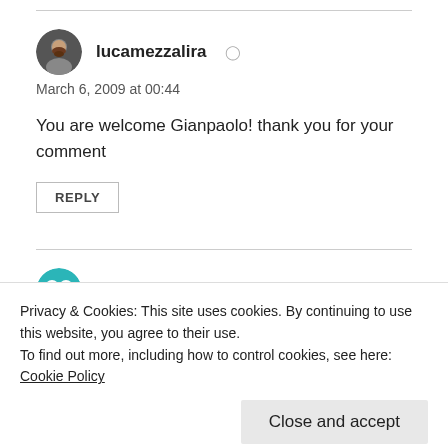lucamezzalira
March 6, 2009 at 00:44
You are welcome Gianpaolo! thank you for your comment
REPLY
Фильмограф
Privacy & Cookies: This site uses cookies. By continuing to use this website, you agree to their use.
To find out more, including how to control cookies, see here: Cookie Policy
Close and accept